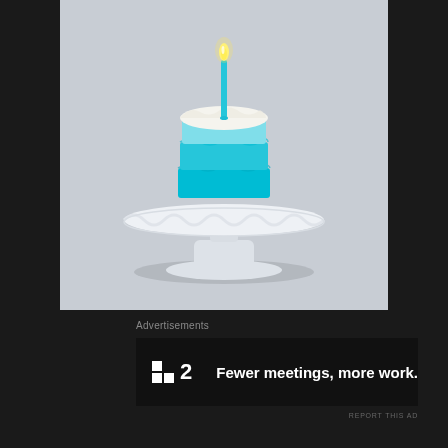[Figure (photo): A small single-serving ombre layer cake in teal/cyan frosting with a lit teal candle on top, sitting on a white ceramic pedestal cake stand, photographed against a light gray background.]
Advertisements
[Figure (other): Advertisement banner with dark background showing a logo (square icon with notch and the number 2) and the text 'Fewer meetings, more work.']
REPORT THIS AD